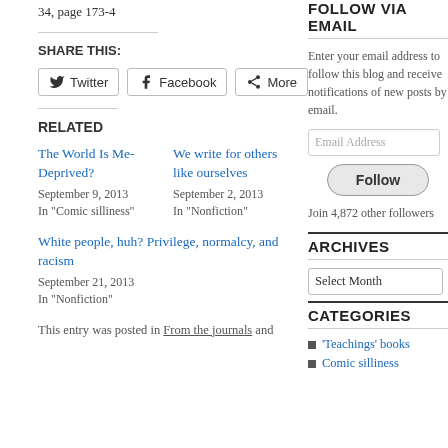34, page 173-4
SHARE THIS:
Twitter | Facebook | More
RELATED
The World Is Me-Deprived?
September 9, 2013
In "Comic silliness"
We write for others like ourselves
September 2, 2013
In "Nonfiction"
White people, huh? Privilege, normalcy, and racism
September 21, 2013
In "Nonfiction"
This entry was posted in From the journals and
FOLLOW VIA EMAIL
Enter your email address to follow this blog and receive notifications of new posts by email.
Email Address
Follow
Join 4,872 other followers
ARCHIVES
Select Month
CATEGORIES
'Teachings' books
Comic silliness